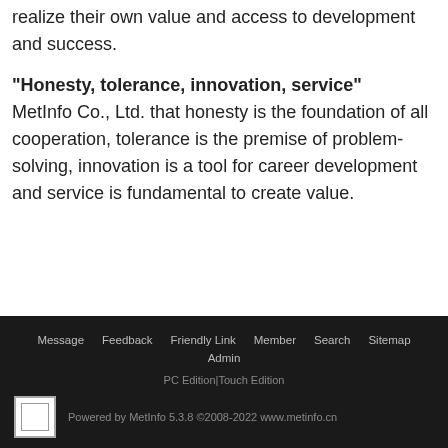realize their own value and access to development and success.
"Honesty, tolerance, innovation, service" MetInfo Co., Ltd. that honesty is the foundation of all cooperation, tolerance is the premise of problem-solving, innovation is a tool for career development and service is fundamental to create value.
Message  Feedback  Friendly Link  Member  Search  Sitemap  Admin  PC Edition|Touch Edition  Powered by MetInfo 5.3.8 ©2008-2022 www.metinfo.cn